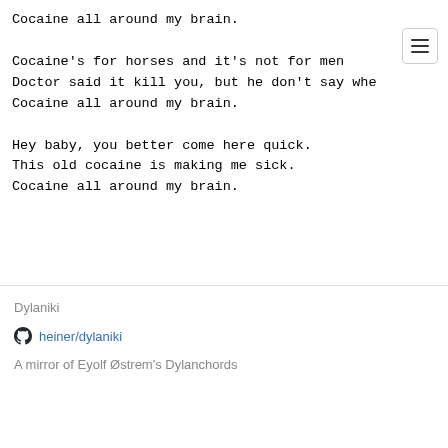Cocaine all around my brain.

Cocaine's for horses and it's not for men
Doctor said it kill you, but he don't say when
Cocaine all around my brain.

Hey baby, you better come here quick.
This old cocaine is making me sick.
Cocaine all around my brain.
Dylaniki
heiner/dylaniki
A mirror of Eyolf Østrem's Dylanchords